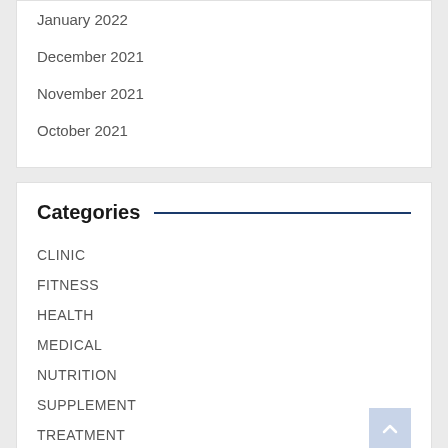January 2022
December 2021
November 2021
October 2021
Categories
CLINIC
FITNESS
HEALTH
MEDICAL
NUTRITION
SUPPLEMENT
TREATMENT